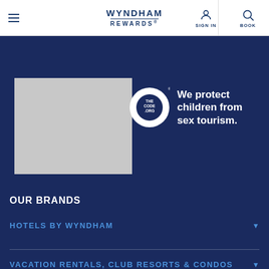Wyndham Rewards — SIGN IN | BOOK
[Figure (logo): Gray image placeholder on dark blue background]
[Figure (logo): TheCode.org circular logo with text: We protect children from sex tourism.]
OUR BRANDS
HOTELS BY WYNDHAM
VACATION RENTALS, CLUB RESORTS & CONDOS